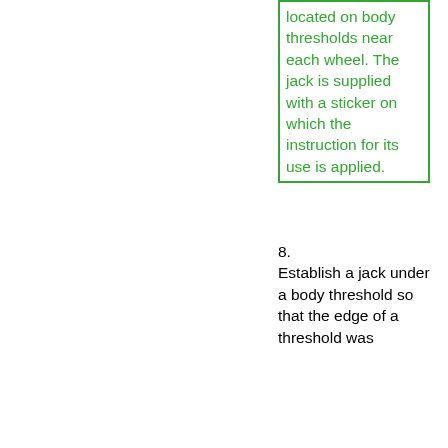located on body thresholds near each wheel. The jack is supplied with a sticker on which the instruction for its use is applied.
8. Establish a jack under a body threshold so that the edge of a threshold was